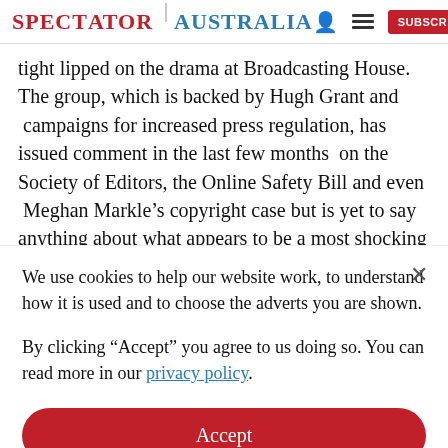SPECTATOR | AUSTRALIA
tight lipped on the drama at Broadcasting House. The group, which is backed by Hugh Grant and campaigns for increased press regulation, has issued comment in the last few months on the Society of Editors, the Online Safety Bill and even Meghan Markle’s copyright case but is yet to say anything about what appears to be a most shocking breach of journalistic
We use cookies to help our website work, to understand how it is used and to choose the adverts you are shown.
By clicking "Accept" you agree to us doing so. You can read more in our privacy policy.
Accept